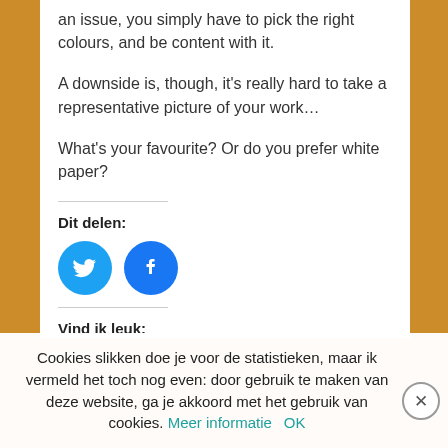an issue, you simply have to pick the right colours, and be content with it.
A downside is, though, it's really hard to take a representative picture of your work…
What's your favourite? Or do you prefer white paper?
Dit delen:
[Figure (other): Twitter and Facebook share icon buttons (blue circles with white icons)]
Vind ik leuk:
Laden...
Cookies slikken doe je voor de statistieken, maar ik vermeld het toch nog even: door gebruik te maken van deze website, ga je akkoord met het gebruik van cookies. Meer informatie OK